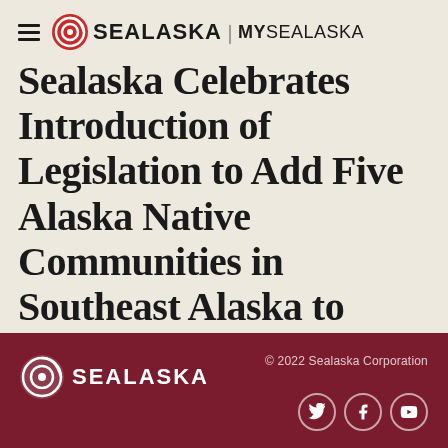SEALASKA | MYSEALASKA
Sealaska Celebrates Introduction of Legislation to Add Five Alaska Native Communities in Southeast Alaska to
© 2022 Sealaska Corporation
[Figure (logo): Sealaska logo with spiral eye icon in white on dark red footer, text SEALASKA]
[Figure (other): Social media icons: Twitter, Facebook, YouTube circles on dark red footer]